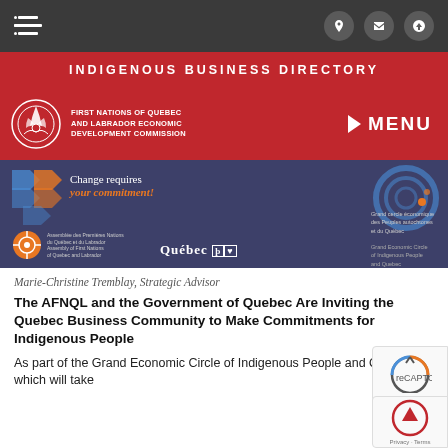INDIGENOUS BUSINESS DIRECTORY
[Figure (logo): First Nations of Quebec and Labrador Economic Development Commission logo with eagle feather emblem]
[Figure (infographic): Grand Economic Circle of Indigenous People and Quebec banner with Change requires your commitment! text, orange arrows, circular graphic, Quebec logo, and event branding]
Marie-Christine Tremblay, Strategic Advisor
The AFNQL and the Government of Quebec Are Inviting the Quebec Business Community to Make Commitments for Indigenous People
As part of the Grand Economic Circle of Indigenous People and Quebec, which will take